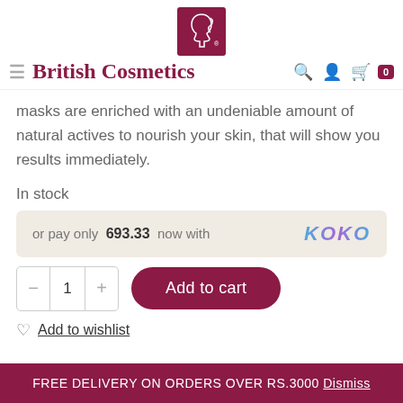[Figure (logo): British Cosmetics logo: dark pink/maroon square with white line drawing of a woman's profile face]
≡ British Cosmetics [search icon] [user icon] [cart icon] 0
masks are enriched with an undeniable amount of natural actives to nourish your skin, that will show you results immediately.
In stock
or pay only 693.33 now with KOKO
1 Add to cart
Add to wishlist
FREE DELIVERY ON ORDERS OVER RS.3000 Dismiss